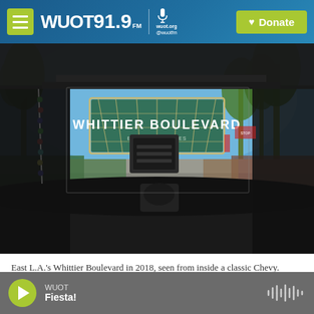WUOT 91.9 FM | wuot.org @wuotfm | Donate
[Figure (photo): View from inside a classic vintage Chevy car looking out through the windshield at the Whittier Boulevard decorative arch sign in East Los Angeles, with palm trees and blue sky visible. The interior shows the dark dashboard and a hanging beaded item on the left.]
East L.A.'s Whittier Boulevard in 2018, seen from inside a classic Chevy.
WUOT | Fiesta!